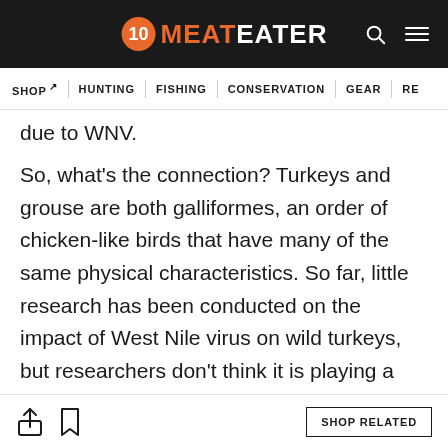10 MEATEATER
SHOP | HUNTING | FISHING | CONSERVATION | GEAR | RE
due to WNV.
So, what's the connection? Turkeys and grouse are both galliformes, an order of chicken-like birds that have many of the same physical characteristics. So far, little research has been conducted on the impact of West Nile virus on wild turkeys, but researchers don't think it is playing a role in turkey population declines. One study conducted in a lab inoculated poults with the disease. None died from WNV.
SHOP RELATED